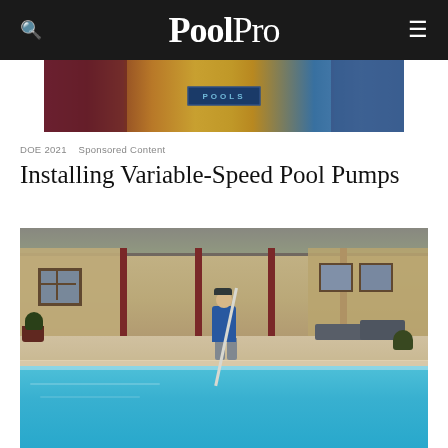PoolPro
[Figure (photo): Close-up photo of a pool equipment product with yellow branding and 'POOLS' text, held by two people in maroon and blue shirts]
DOE 2021   Sponsored Content
Installing Variable-Speed Pool Pumps
[Figure (photo): A pool technician in a blue shirt using a pole to clean a large swimming pool at a residential home with a stone facade and covered patio]